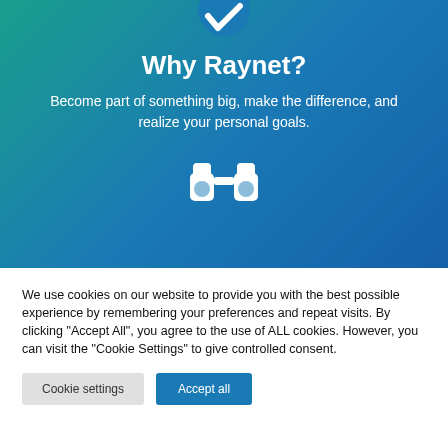[Figure (illustration): White checkmark icon in a blue circle at the top of a teal-to-blue gradient hero section]
Why Raynet?
Become part of something big, make the difference, and realize your personal goals.
[Figure (illustration): White binoculars icon centered in the lower portion of the gradient hero section]
We use cookies on our website to provide you with the best possible experience by remembering your preferences and repeat visits. By clicking "Accept All", you agree to the use of ALL cookies. However, you can visit the "Cookie Settings" to give controlled consent.
Cookie settings | Accept all